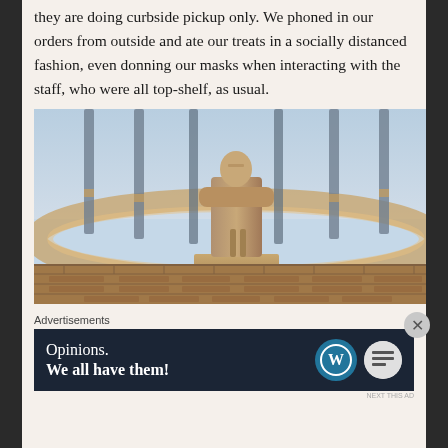they are doing curbside pickup only. We phoned in our orders from outside and ate our treats in a socially distanced fashion, even donning our masks when interacting with the staff, who were all top-shelf, as usual.
[Figure (photo): Upward-looking photo of a large stone statue of a robed figure standing in a circular colonnaded monument, with tall vertical pillars/cables framing the statue against a blue sky.]
Advertisements
[Figure (screenshot): Advertisement banner with dark navy background reading 'Opinions. We all have them!' with WordPress logo and another circular logo on the right.]